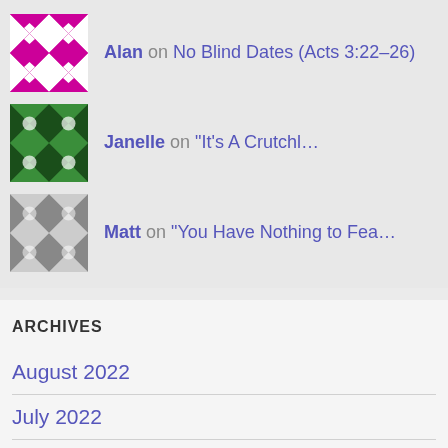Alan on No Blind Dates (Acts 3:22-26)
Janelle on “It’s A Crutchl…
Matt on “You Have Nothing to Fea…
ARCHIVES
August 2022
July 2022
June 2022